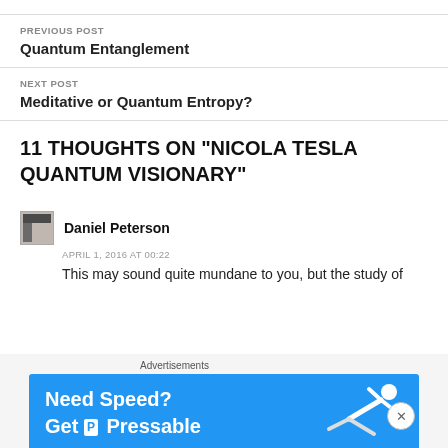PREVIOUS POST
Quantum Entanglement
NEXT POST
Meditative or Quantum Entropy?
11 THOUGHTS ON “NICOLA TESLA QUANTUM VISIONARY”
Daniel Peterson
APRIL 1, 2016 AT 00:22
This may sound quite mundane to you, but the study of
[Figure (infographic): Advertisement banner: 'Need Speed? Get Pressable' on blue background with running figure illustration]
Advertisements